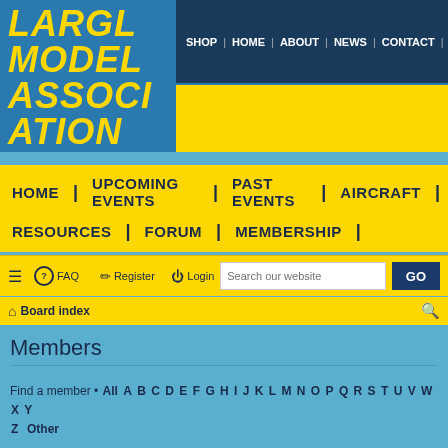LARGE MODEL ASSOCIATION
SHOP | HOME | ABOUT | NEWS | CONTACT |
HOME | UPCOMING EVENTS | PAST EVENTS | AIRCRAFT | RESOURCES | FORUM | MEMBERSHIP
FAQ   Register   Login   Search our website   GO
Board index
Members
Find a member • All A B C D E F G H I J K L M N O P Q R S T U V W X Y Z  Other
1942 users   1 2 3 4 5 ... 78 >
| USERNAME |
| --- |